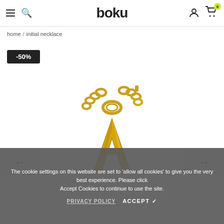boku — navigation header with hamburger menu, search, account, and cart (0 items)
home / initial necklace
-50%
[Figure (photo): Close-up photo of a gold initial letter 'A' necklace pendant with gold chain links visible at the top, on a white background.]
← →
The cookie settings on this website are set to 'allow all cookies' to give you the very best experience. Please click Accept Cookies to continue to use the site.
PRIVACY POLICY   ACCEPT ✔